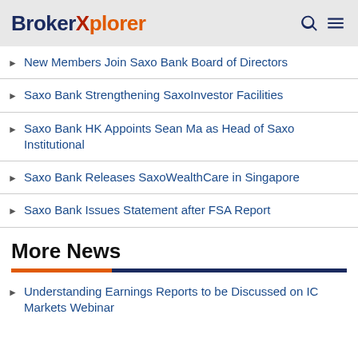BrokerXplorer
New Members Join Saxo Bank Board of Directors
Saxo Bank Strengthening SaxoInvestor Facilities
Saxo Bank HK Appoints Sean Ma as Head of Saxo Institutional
Saxo Bank Releases SaxoWealthCare in Singapore
Saxo Bank Issues Statement after FSA Report
More News
Understanding Earnings Reports to be Discussed on IC Markets Webinar